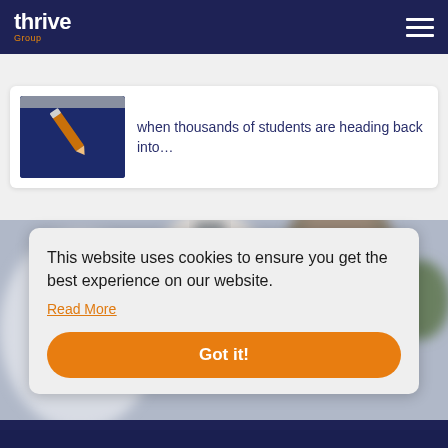[Figure (logo): Thrive Group logo — white bold 'thrive' text with orange 'Group' subtitle on dark navy background]
[Figure (screenshot): Website header navigation with hamburger menu icon on dark navy background]
[Figure (photo): Thumbnail image showing a pencil icon (orange) on dark blue background, inside a white card]
when thousands of students are heading back into…
[Figure (photo): Blurry background photo of a man in an office setting]
This website uses cookies to ensure you get the best experience on our website.
Read More
Got it!